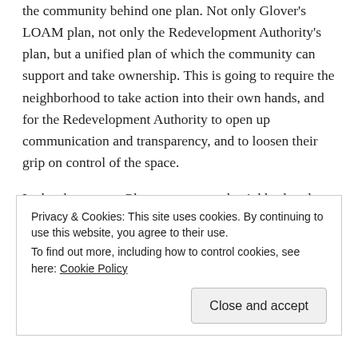the community behind one plan.  Not only Glover's LOAM plan, not only the Redevelopment Authority's plan, but a unified plan of which the community can support and take ownership.  This is going to require the neighborhood to take action into their own hands, and for the Redevelopment Authority to open up communication and transparency, and to loosen their grip on control of the space.
In the short-term, Glover encouraged neighborhood residents to plant a pocket park, where they can start a small garden and community space.  If the Redevelopment Authority wants to come in and kick over the flowers planted by the community, it will only bring more attention to the future of this community
Privacy & Cookies: This site uses cookies. By continuing to use this website, you agree to their use.
To find out more, including how to control cookies, see here: Cookie Policy
Close and accept